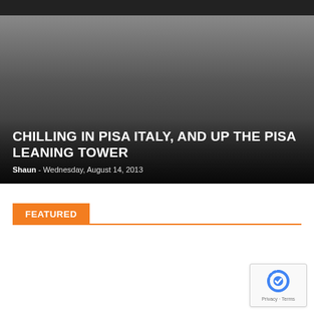[Figure (photo): Hero image with dark gradient overlay showing a blog post header for 'Chilling in Pisa Italy, and Up the Pisa Leaning Tower']
CHILLING IN PISA ITALY, AND UP THE PISA LEANING TOWER
Shaun - Wednesday, August 14, 2013
FEATURED
[Figure (other): reCAPTCHA badge with circular arrow icon and Privacy - Terms text]